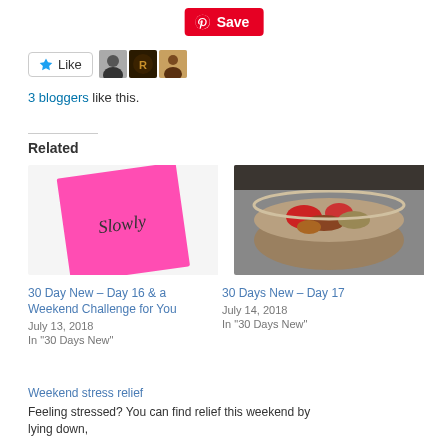[Figure (screenshot): Pinterest Save button in red]
[Figure (screenshot): Like button and three blogger avatar thumbnails]
3 bloggers like this.
Related
[Figure (photo): Pink sticky note with the word 'Slowly' written on it]
30 Day New – Day 16 & a Weekend Challenge for You
July 13, 2018
In "30 Days New"
[Figure (photo): Food in a silver bowl — vegetables including red peppers and onions]
30 Days New – Day 17
July 14, 2018
In "30 Days New"
Weekend stress relief
Feeling stressed? You can find relief this weekend by lying down,